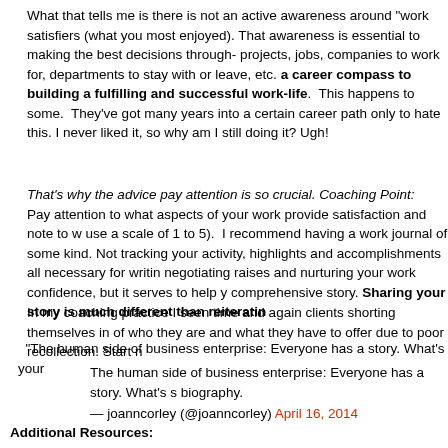What that tells me is there is not an active awareness around "work satisfiers" (what you most enjoyed). That awareness is essential to making the best decisions through- projects, jobs, companies to work for, departments to stay with or leave, etc. a career compass to building a fulfilling and successful work-life. This happens to some. They've got many years into a certain career path only to hate this. I never liked it, so why am I still doing it? Ugh!
That's why the advice pay attention is so crucial. Coaching Point: Pay attention to what aspects of your work provide satisfaction and note to w use a scale of 1 to 5). I recommend having a work journal of some kind. Not tracking your activity, highlights and accomplishments all necessary for writin negotiating raises and nurturing your work confidence, but it serves to help y comprehensive story. Sharing your story is much different than reiteratin
In my coaching practice I seen time and again clients shorting themselves in of who they are and what they have to offer due to poor recollection. Start n
"The human side of business enterprise: Everyone has a story. What's your
The human side of business enterprise: Everyone has a story. What's s biography.
— joanncorley (@joanncorley) April 16, 2014
Additional Resources: